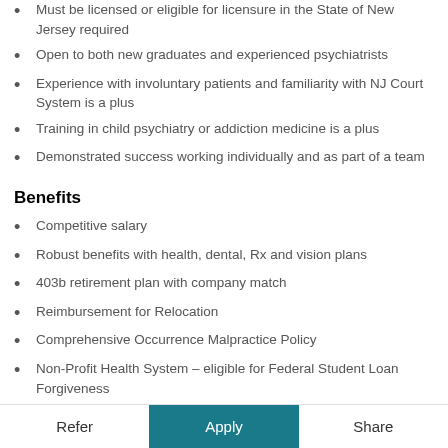Must be licensed or eligible for licensure in the State of New Jersey required
Open to both new graduates and experienced psychiatrists
Experience with involuntary patients and familiarity with NJ Court System is a plus
Training in child psychiatry or addiction medicine is a plus
Demonstrated success working individually and as part of a team
Benefits
Competitive salary
Robust benefits with health, dental, Rx and vision plans
403b retirement plan with company match
Reimbursement for Relocation
Comprehensive Occurrence Malpractice Policy
Non-Profit Health System – eligible for Federal Student Loan Forgiveness
$3500 for Annual CME and Time Off incremental to PTO days
Refer   Apply   Share